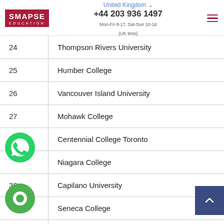SMAPSE EDUCATION | United Kingdom | +44 203 936 1497 | Mon-Fri 8-17, Sat-Sun 10-16 (UK time)
| # | Institution |
| --- | --- |
| 24 | Thompson Rivers University |
| 25 | Humber College |
| 26 | Vancouver Island University |
| 27 | Mohawk College |
| 28 | Centennial College Toronto |
|  | Niagara College |
| 30 | Capilano University |
|  | Seneca College |
| 32 | Algoma University |